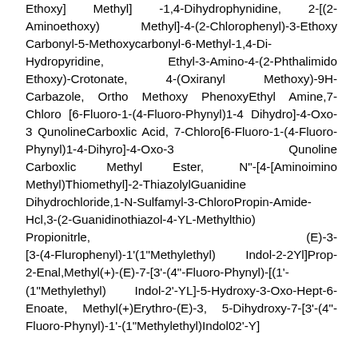Ethoxy] Methyl] -1,4-Dihydrophynidine, 2-[(2-Aminoethoxy) Methyl]-4-(2-Chlorophenyl)-3-EthoxyCarbonyl-5-Methoxycarbonyl-6-Methyl-1,4-Di-Hydropyridine, Ethyl-3-Amino-4-(2-PhthalimidoEthoxy)-Crotonate, 4-(Oxiranyl Methoxy)-9H-Carbazole, Ortho Methoxy PhenoxyEthyl Amine,7-Chloro [6-Fluoro-1-(4-Fluoro-Phynyl)1-4 Dihydro]-4-Oxo-3 QunolineCarboxlic Acid, 7-Chloro[6-Fluoro-1-(4-Fluoro-Phynyl)1-4-Dihyro]-4-Oxo-3 Qunoline Carboxlic Methyl Ester, N"-[4-[Aminoimino Methyl)Thiomethyl]-2-ThiazolylGuanidine Dihydrochloride,1-N-Sulfamyl-3-ChloroPropin-Amide-Hcl,3-(2-Guanidinothiazol-4-YL-Methylthio) Propionitrle, (E)-3-[3-(4-Flurophenyl)-1'(1"Methylethyl) Indol-2-2Yl]Prop-2-Enal,Methyl(+)-(E)-7-[3'-(4"-Fluoro-Phynyl)-[(1'-(1"Methylethyl) Indol-2'-YL]-5-Hydroxy-3-Oxo-Hept-6-Enoate, Methyl(+)Erythro-(E)-3, 5-Dihydroxy-7-[3'-(4"-Fluoro-Phynyl)-1'-(1"Methylethyl)Indol02'-Y]